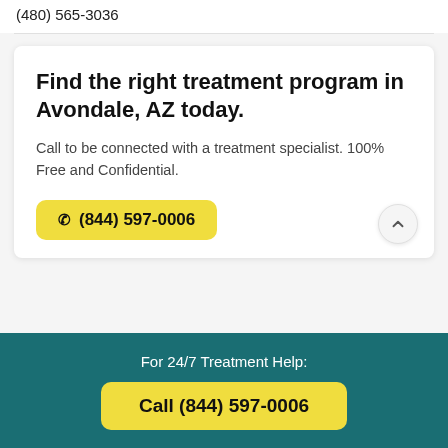(480) 565-3036
Find the right treatment program in Avondale, AZ today.
Call to be connected with a treatment specialist. 100% Free and Confidential.
☎ (844) 597-0006
For 24/7 Treatment Help:
Call (844) 597-0006